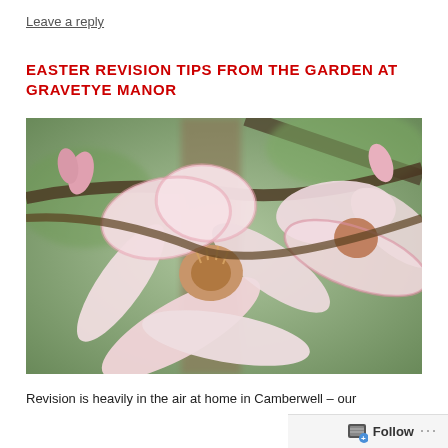Leave a reply
EASTER REVISION TIPS FROM THE GARDEN AT GRAVETYE MANOR
[Figure (photo): Close-up photograph of pink magnolia blossoms on a branch, with a blurred garden background.]
Revision is heavily in the air at home in Camberwell – our